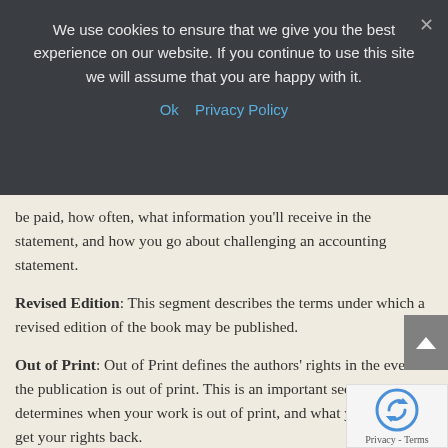We use cookies to ensure that we give you the best experience on our website. If you continue to use this site we will assume that you are happy with it.
Ok   Privacy Policy
be paid, how often, what information you'll receive in the statement, and how you go about challenging an accounting statement.
Revised Edition: This segment describes the terms under which a revised edition of the book may be published.
Out of Print: Out of Print defines the authors' rights in the event the publication is out of print. This is an important section, as it determines when your work is out of print, and what you can do to get your rights back.
Termination: This section spells out the terms on